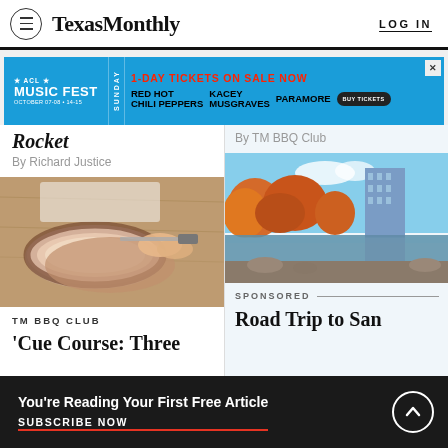Texas Monthly  LOG IN
[Figure (screenshot): ACL Music Fest advertisement banner: 1-DAY TICKETS ON SALE NOW, Sunday, Red Hot Chili Peppers, Kacey Musgraves, Paramore, Buy Tickets]
Rocket
By Richard Justice
By TM BBQ Club
[Figure (photo): Close-up photo of sliced smoked meat being cut on a wooden surface]
[Figure (photo): Aerial/scenic photo of San Antonio cityscape with fall foliage and river]
TM BBQ CLUB
'Cue Course: Three
SPONSORED
Road Trip to San
You're Reading Your First Free Article
SUBSCRIBE NOW